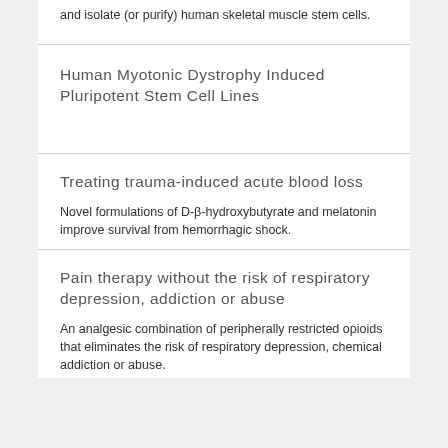and isolate (or purify) human skeletal muscle stem cells.
Human Myotonic Dystrophy Induced Pluripotent Stem Cell Lines
Treating trauma-induced acute blood loss
Novel formulations of D-β-hydroxybutyrate and melatonin improve survival from hemorrhagic shock.
Pain therapy without the risk of respiratory depression, addiction or abuse
An analgesic combination of peripherally restricted opioids that eliminates the risk of respiratory depression, chemical addiction or abuse.